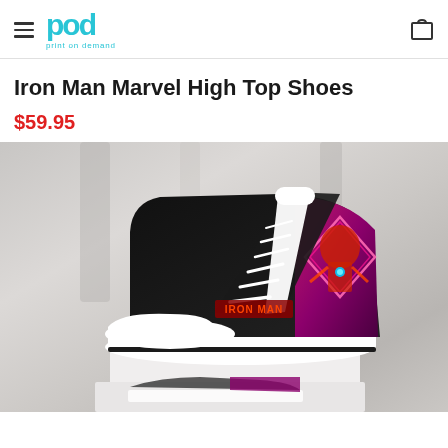pod print on demand
Iron Man Marvel High Top Shoes
$59.95
[Figure (photo): Iron Man Marvel High Top Shoes product photo — a high-top sneaker with white sole and toe cap, black canvas upper, featuring Iron Man graphic with neon pink/purple diamond design and 'IRON MAN' text in red on the side. Shown on a white display box with another shoe visible below.]